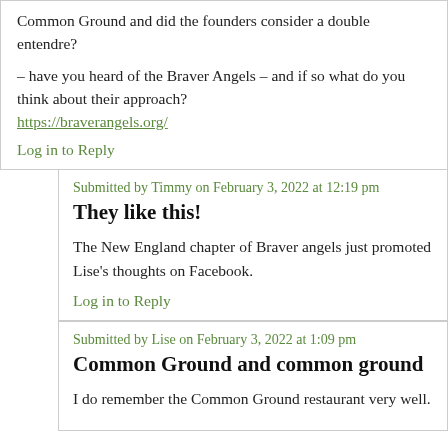Common Ground and did the founders consider a double entendre?
– have you heard of the Braver Angels – and if so what do you think about their approach?
https://braverangels.org/
Log in to Reply
Submitted by Timmy on February 3, 2022 at 12:19 pm
They like this!
The New England chapter of Braver angels just promoted Lise's thoughts on Facebook.
Log in to Reply
Submitted by Lise on February 3, 2022 at 1:09 pm
Common Ground and common ground
I do remember the Common Ground restaurant very well.